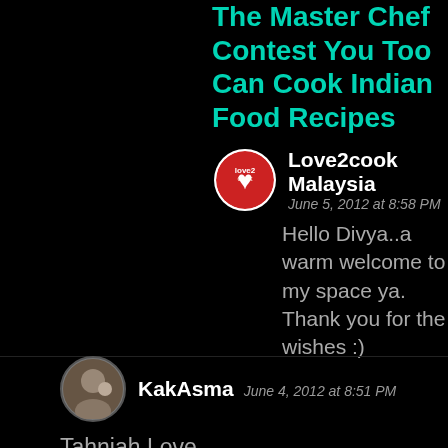The Master Chef Contest You Too Can Cook Indian Food Recipes
Love2cook Malaysia
June 5, 2012 at 8:58 PM
Hello Divya..a warm welcome to my space ya. Thank you for the wishes :)
REPLY
KakAsma  June 4, 2012 at 8:51 PM
Tahniah Love,
dua dua sekali aniversary n